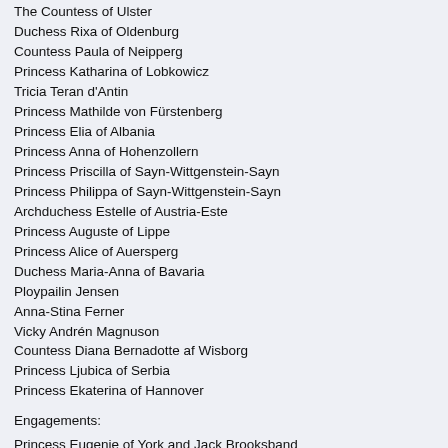The Countess of Ulster
Duchess Rixa of Oldenburg
Countess Paula of Neipperg
Princess Katharina of Lobkowicz
Tricia Teran d'Antin
Princess Mathilde von Fürstenberg
Princess Elia of Albania
Princess Anna of Hohenzollern
Princess Priscilla of Sayn-Wittgenstein-Sayn
Princess Philippa of Sayn-Wittgenstein-Sayn
Archduchess Estelle of Austria-Este
Princess Auguste of Lippe
Princess Alice of Auersperg
Duchess Maria-Anna of Bavaria
Ploypailin Jensen
Anna-Stina Ferner
Vicky Andrén Magnuson
Countess Diana Bernadotte af Wisborg
Princess Ljubica of Serbia
Princess Ekaterina of Hannover
Engagements:
Princess Eugenie of York and Jack Brooksband
Victor Magnuson and Frida Bergström
Prince Philip of Serbia and Lucy Attwood
Prince Christian of Hannover and Alessandra Osma de Foy
Prince Henry of Wales and Meghan Markle